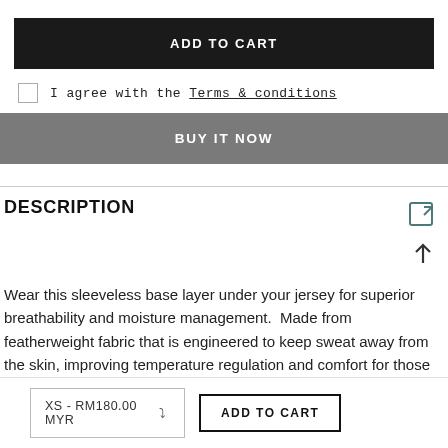ADD TO CART
I agree with the Terms & conditions
BUY IT NOW
DESCRIPTION
Wear this sleeveless base layer under your jersey for superior breathability and moisture management.  Made from featherweight fabric that is engineered to keep sweat away from the skin, improving temperature regulation and comfort for those long rides.
XS - RM180.00 MYR
ADD TO CART